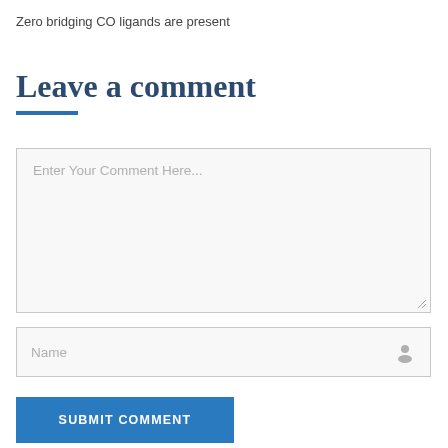Zero bridging CO ligands are present
Leave a comment
Enter Your Comment Here...
Name
SUBMIT COMMENT